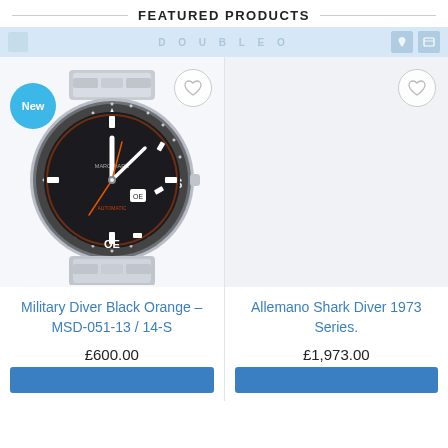FEATURED PRODUCTS
[Figure (screenshot): Navigation bar with 'DOUBLEF O' watermark logo text in light blue and two icon boxes on the right]
[Figure (photo): Military Diver watch with black dial, orange accent hands, stainless steel bracelet, 'New' badge in teal]
[Figure (photo): Second product placeholder area with heart icon, light grey background]
Military Diver Black Orange – MSD-051-13 / 14-S
£600.00
Allemano Shark Diver 1973 Series.
£1,973.00